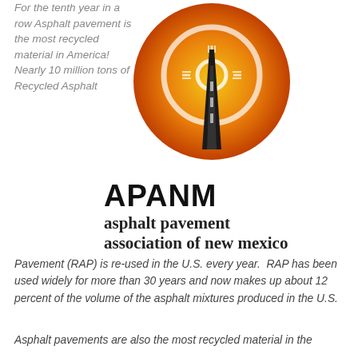For the tenth year in a row Asphalt pavement is the most recycled material in America!  Nearly 10 million tons of Recycled Asphalt
[Figure (logo): APANM logo: circular orange/gold gradient with road and zia symbol, with text APANM asphalt pavement association of new mexico]
Pavement (RAP) is re-used in the U.S. every year.  RAP has been used widely for more than 30 years and now makes up about 12 percent of the volume of the asphalt mixtures produced in the U.S.
Asphalt pavements are also the most recycled material in the